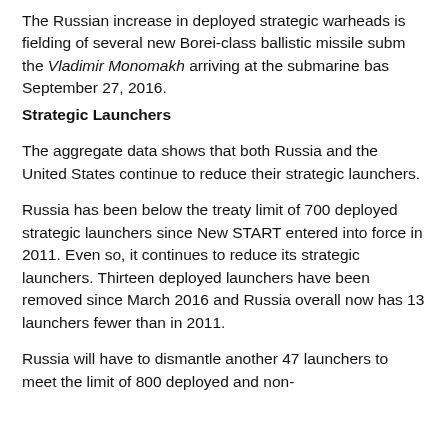The Russian increase in deployed strategic warheads is fielding of several new Borei-class ballistic missile subm the Vladimir Monomakh arriving at the submarine bas September 27, 2016.
Strategic Launchers
The aggregate data shows that both Russia and the United States continue to reduce their strategic launchers.
Russia has been below the treaty limit of 700 deployed strategic launchers since New START entered into force in 2011. Even so, it continues to reduce its strategic launchers. Thirteen deployed launchers have been removed since March 2016 and Russia overall now has 13 launchers fewer than in 2011.
Russia will have to dismantle another 47 launchers to meet the limit of 800 deployed and non-